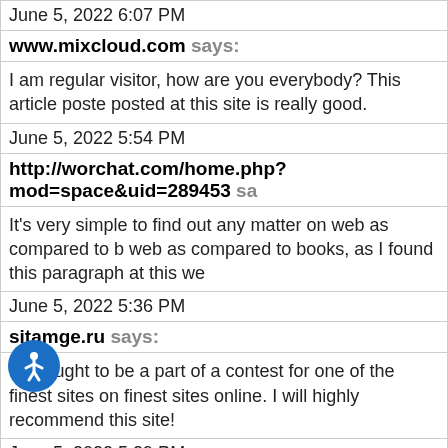June 5, 2022 6:07 PM
www.mixcloud.com says:
I am regular visitor, how are you everybody? This article posted at this site is really good.
June 5, 2022 5:54 PM
http://worchat.com/home.php?mod=space&uid=289453 says:
It's very simple to find out any matter on web as compared to books, as I found this paragraph at this web...
June 5, 2022 5:36 PM
sitamge.ru says:
You ought to be a part of a contest for one of the finest sites online. I will highly recommend this site!
June 5, 2022 5:29 PM
https://controlc.com/62439521 says:
Your means of describing everything in this paragraph is genuinely means of describing everything in this paragraph is genuinely
June 5, 2022 5:28 PM
...age38r.com says: